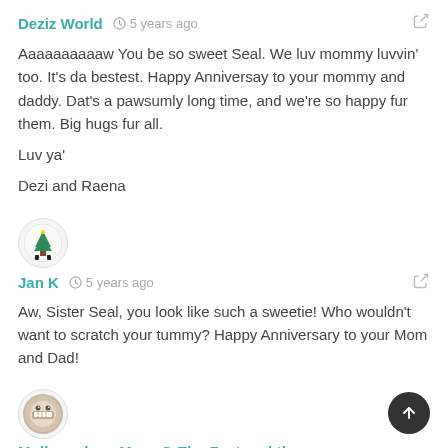Deziz World  5 years ago
Aaaaaaaaaaw You be so sweet Seal. We luv mommy luvvin' too. It's da bestest. Happy Anniversay to your mommy and daddy. Dat's a pawsumly long time, and we're so happy fur them. Big hugs fur all.

Luv ya'

Dezi and Raena
[Figure (photo): Round avatar with a Christmas tree character illustration]
Jan K  5 years ago
Aw, Sister Seal, you look like such a sweetie! Who wouldn't want to scratch your tummy? Happy Anniversary to your Mom and Dad!
[Figure (photo): Round avatar with a cartoon face character]
Molly and my Mom @ The Fast and the